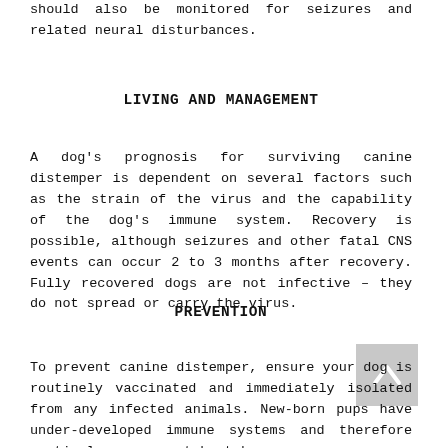should also be monitored for seizures and related neural disturbances.
LIVING AND MANAGEMENT
A dog's prognosis for surviving canine distemper is dependent on several factors such as the strain of the virus and the capability of the dog's immune system. Recovery is possible, although seizures and other fatal CNS events can occur 2 to 3 months after recovery. Fully recovered dogs are not infective – they do not spread or carry the virus.
PREVENTION
To prevent canine distemper, ensure your dog is routinely vaccinated and immediately isolated from any infected animals. New-born pups have under-developed immune systems and therefore particular care must be taken